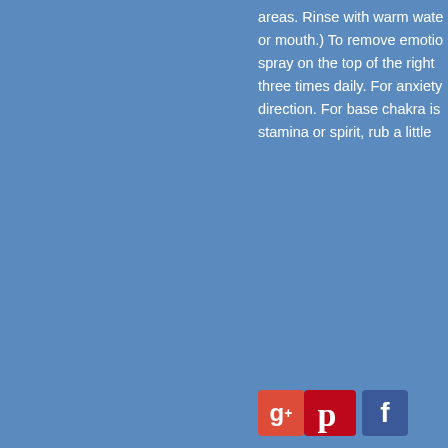areas. Rinse with warm water or mouth.) To remove emotio spray on the top of the right three times daily. For anxiety direction. For base chakra is stamina or spirit, rub a little
[Figure (other): Three social media icon buttons: Google+, Pinterest, Facebook]
[Figure (infographic): Safe payments box with lock icon, text 'SAFE PAYMENTS - We accept payments via Paypal', a vertical divider, and a partial bag/gift icon]